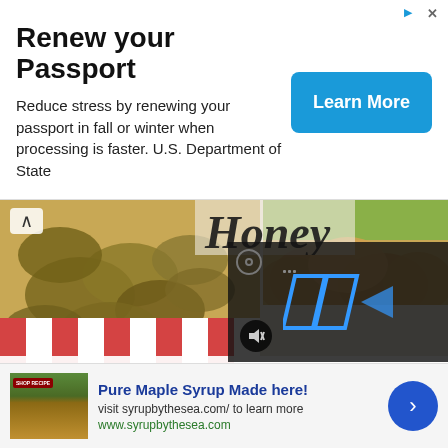[Figure (screenshot): Advertisement banner: Renew your Passport with Learn More button, blue CTA, U.S. Department of State ad]
Renew your Passport
Reduce stress by renewing your passport in fall or winter when processing is faster. U.S. Department of State
[Figure (photo): Food content area showing zucchini chips on red-white striped cloth, cursive Honey text overlay, bread rolls, and a dark video player overlay with play button and mute icon]
We bet you don't even miss the back to your previous diet because these low carb recipes will make you feel great! Everyone should try out a low carb diet.
[Figure (screenshot): Bottom advertisement: Pure Maple Syrup Made here! Visit syrupbythesea.com to learn more. www.syrupbythesea.com with image and blue arrow button]